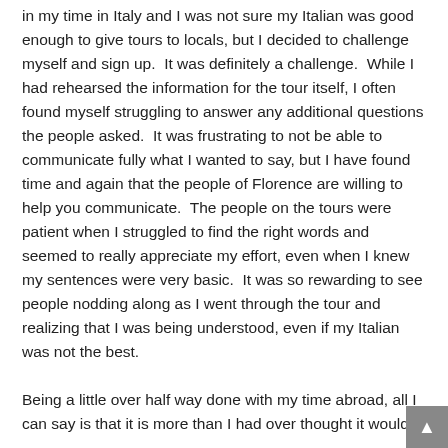in my time in Italy and I was not sure my Italian was good enough to give tours to locals, but I decided to challenge myself and sign up.  It was definitely a challenge.  While I had rehearsed the information for the tour itself, I often found myself struggling to answer any additional questions the people asked.  It was frustrating to not be able to communicate fully what I wanted to say, but I have found time and again that the people of Florence are willing to help you communicate.  The people on the tours were patient when I struggled to find the right words and seemed to really appreciate my effort, even when I knew my sentences were very basic.  It was so rewarding to see people nodding along as I went through the tour and realizing that I was being understood, even if my Italian was not the best.

Being a little over half way done with my time abroad, all I can say is that it is more than I had over thought it would